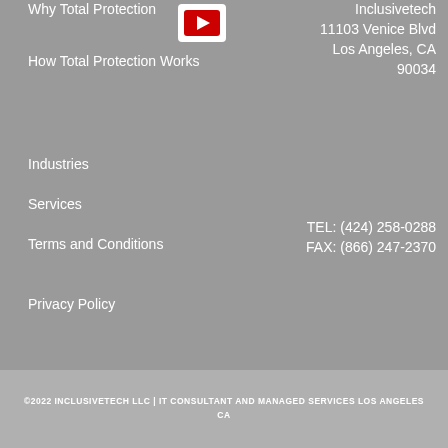Why Total Protection
How Total Protection Works
Industries
Services
Terms and Conditions
Privacy Policy
[Figure (logo): YouTube play button icon in red and white]
Inclusivetech
11103 Venice Blvd
Los Angeles, CA 90034
TEL: (424) 258-0288
FAX: (866) 247-2370
©2022 INCLUSIVETECH LLC | IT CONSULTANT AND MANAGED SERVICES LOS ANGELES CA